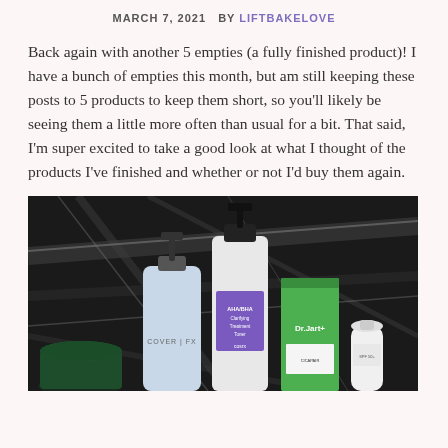MARCH 7, 2021  BY LIFTBAKELOVE
Back again with another 5 empties (a fully finished product)! I have a bunch of empties this month, but am still keeping these posts to 5 products to keep them short, so you'll likely be seeing them a little more often than usual for a bit. That said, I'm super excited to take a good look at what I thought of the products I've finished and whether or not I'd buy them again.
[Figure (photo): Five skincare/beauty product bottles and containers arranged on a dark marble surface. Products include Cover FX, COSRX AHA/BHA Clarifying Treatment Toner, Dr.Jart+ packaging, and others. Products are standing upright against a black marble background.]